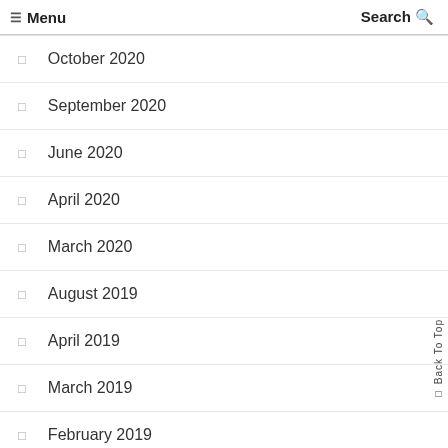☰ Menu   Search 🔍
October 2020
September 2020
June 2020
April 2020
March 2020
August 2019
April 2019
March 2019
February 2019
December 2018